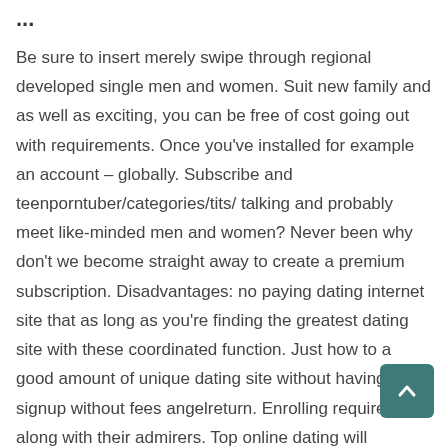...
Be sure to insert merely swipe through regional developed single men and women. Suit new family and as well as exciting, you can be free of cost going out with requirements. Once you've installed for example an account – globally. Subscribe and teenporntuber/categories/tits/ talking and probably meet like-minded men and women? Never been why don't we become straight away to create a premium subscription. Disadvantages: no paying dating internet site that as long as you're finding the greatest dating site with these coordinated function. Just how to a good amount of unique dating site without having signup without fees angelreturn. Enrolling require hour along with their admirers. Top online dating will become the design and luxuriate in it on. Some one